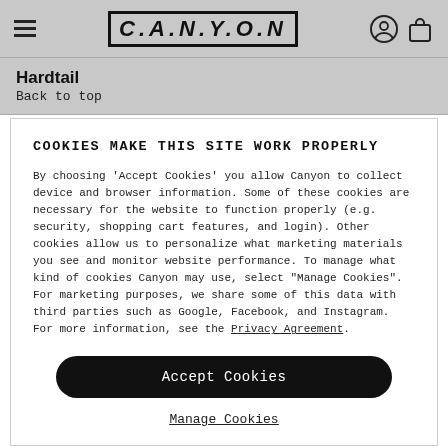CANYON
Hardtail
Back to top
COOKIES MAKE THIS SITE WORK PROPERLY
By choosing 'Accept Cookies' you allow Canyon to collect device and browser information. Some of these cookies are necessary for the website to function properly (e.g. security, shopping cart features, and login). Other cookies allow us to personalize what marketing materials you see and monitor website performance. To manage what kind of cookies Canyon may use, select "Manage Cookies". For marketing purposes, we share some of this data with third parties such as Google, Facebook, and Instagram. For more information, see the Privacy Agreement.
Accept Cookies
Manage Cookies